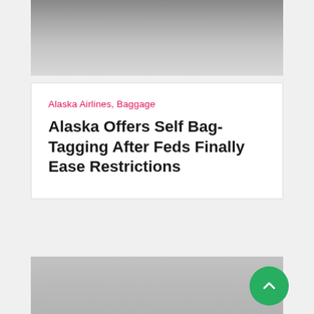[Figure (photo): Top gray gradient image banner, partially visible, dark to light gray gradient]
Alaska Airlines, Baggage
Alaska Offers Self Bag-Tagging After Feds Finally Ease Restrictions
[Figure (photo): Large gray gradient image, partially visible at bottom of page, with a green circular scroll-to-top button in the lower right]